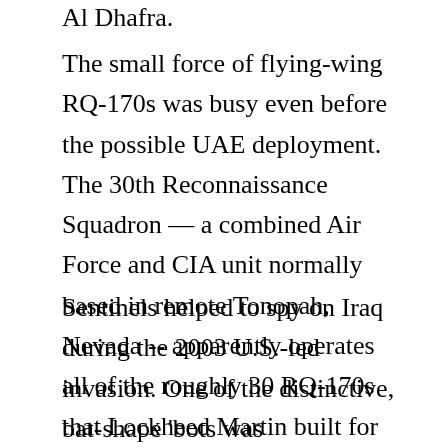Al Dhafra.
The small force of flying-wing RQ-170s was busy even before the possible UAE deployment. The 30th Reconnaissance Squadron — a combined Air Force and CIA unit normally based in remote Tonopah, Nevada -- apparently operates all of the roughly 30 RQ-170s that Lockheed Martin built for the Air Force in the early 2000s.
Sentinels helped to spy on Iraq during the 2003 U.S.-led invasion. One of the distinctive, bat-shape 'bots was photographed by a journalist at Kandahar airfield in 2007. In 2009, the Air Force copped to the Sentinel's existence, but released